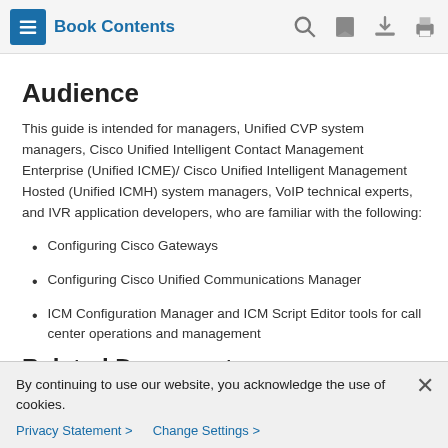Book Contents
Audience
This guide is intended for managers, Unified CVP system managers, Cisco Unified Intelligent Contact Management Enterprise (Unified ICME)/ Cisco Unified Intelligent Management Hosted (Unified ICMH) system managers, VoIP technical experts, and IVR application developers, who are familiar with the following:
Configuring Cisco Gateways
Configuring Cisco Unified Communications Manager
ICM Configuration Manager and ICM Script Editor tools for call center operations and management
Related Documents
By continuing to use our website, you acknowledge the use of cookies.
Privacy Statement > Change Settings >